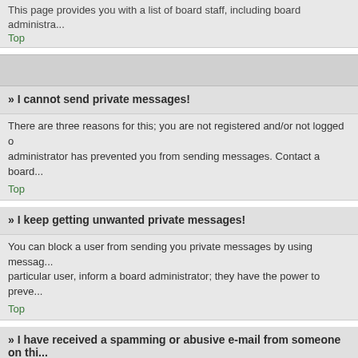This page provides you with a list of board staff, including board administra...
Top
» I cannot send private messages!
There are three reasons for this; you are not registered and/or not logged on, administrator has prevented you from sending messages. Contact a board...
Top
» I keep getting unwanted private messages!
You can block a user from sending you private messages by using messag... particular user, inform a board administrator; they have the power to preve...
Top
» I have received a spamming or abusive e-mail from someone on thi...
We are sorry to hear that. The e-mail form feature of this board includes sa... a full copy of the e-mail you received. It is very important that this includes... can then take action.
Top
» What are my Friends and Foes lists?
You can use these lists to organise other members of the board. Members... their online status and to send them private messages. Subject to template... any posts they make will be hidden by default.